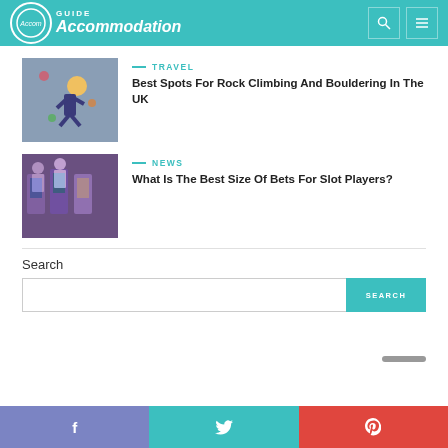Guide Accommodation
TRAVEL
Best Spots For Rock Climbing And Bouldering In The UK
[Figure (photo): Person rock climbing viewed from above]
NEWS
What Is The Best Size Of Bets For Slot Players?
[Figure (photo): People at slot machines in a casino]
Search
Facebook Twitter Pinterest social share bar